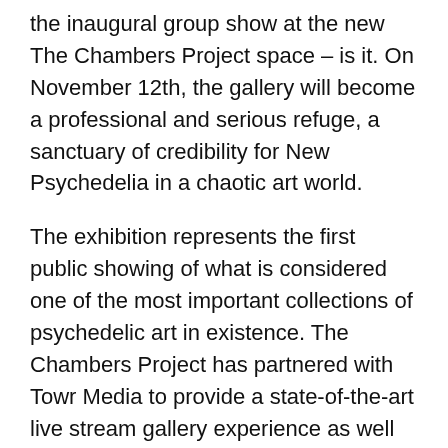the inaugural group show at the new The Chambers Project space – is it. On November 12th, the gallery will become a professional and serious refuge, a sanctuary of credibility for New Psychedelia in a chaotic art world.
The exhibition represents the first public showing of what is considered one of the most important collections of psychedelic art in existence. The Chambers Project has partnered with Towr Media to provide a state-of-the-art live stream gallery experience as well as art projections on the external walls of the new building.
Curator Brian Chambers has firmly staked his claim in the history of the genre by showing treasures from early rock music and psychedelic art: rare paintings by rock gods Jerry Garcia, and Jimi Hendrix, and original